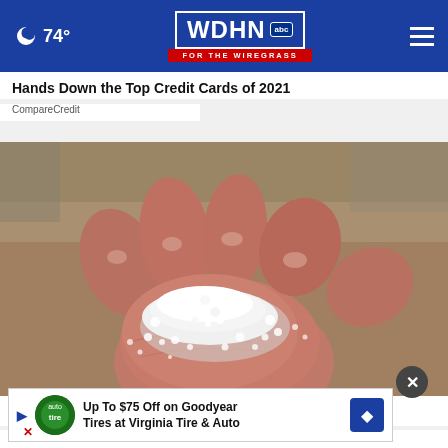74° WDHN ABC FOR THE WIREGRASS
Hands Down the Top Credit Cards of 2021
CompareCredit
[Figure (photo): Hand holding small white hail stones in palm]
A Te... Wei...
[Figure (other): Advertisement: Up To $75 Off on Goodyear Tires at Virginia Tire & Auto]
Trending Now: Finds